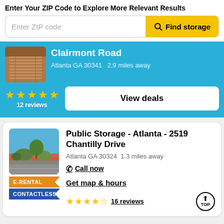Enter Your ZIP Code to Explore More Relevant Results
Enter ZIP code
Find storage
Clairmont Road
Atlanta GA 30341   2.9 miles away
12 reviews
View deals
[Figure (photo): Photo of storage facility at Chantilly Drive, Atlanta]
Public Storage - Atlanta - 2519 Chantilly Drive
Atlanta GA 30324  1.3 miles away
Call now
Get map & hours
E-RENTAL
CONTACTLESS
16 reviews